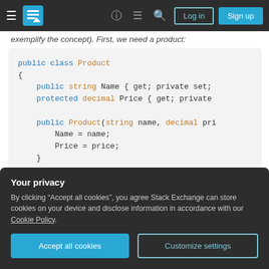Stack Exchange navigation bar with hamburger menu, logo, help, chat, search icons, Log in and Sign up buttons
exemplify the concept). First, we need a product:
[Figure (screenshot): C# code block showing public class Product with Name and Price properties, a constructor, and GetPrice() method. Code uses syntax highlighting with blue keywords and orange type names.]
Your privacy
By clicking "Accept all cookies", you agree Stack Exchange can store cookies on your device and disclose information in accordance with our Cookie Policy.
Accept all cookies  Customize settings